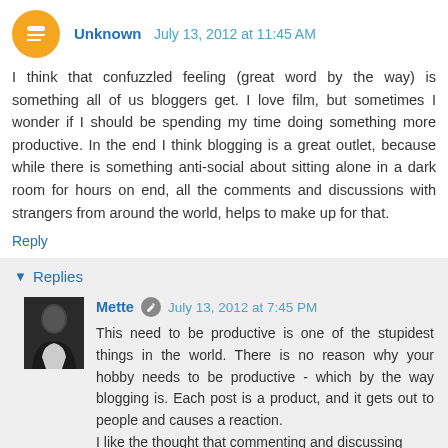Unknown  July 13, 2012 at 11:45 AM
I think that confuzzled feeling (great word by the way) is something all of us bloggers get. I love film, but sometimes I wonder if I should be spending my time doing something more productive. In the end I think blogging is a great outlet, because while there is something anti-social about sitting alone in a dark room for hours on end, all the comments and discussions with strangers from around the world, helps to make up for that.
Reply
Replies
Mette  July 13, 2012 at 7:45 PM
This need to be productive is one of the stupidest things in the world. There is no reason why your hobby needs to be productive - which by the way blogging is. Each post is a product, and it gets out to people and causes a reaction.
I like the thought that commenting and discussing